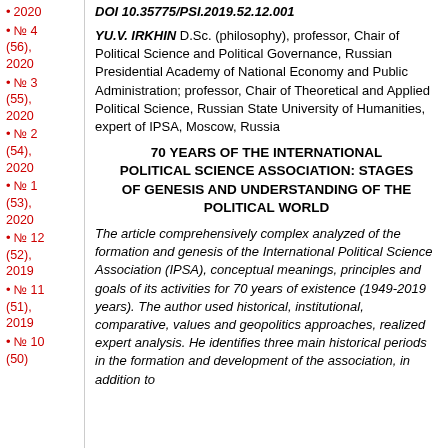2020
№ 4 (56), 2020
№ 3 (55), 2020
№ 2 (54), 2020
№ 1 (53), 2020
№ 12 (52), 2019
№ 11 (51), 2019
№ 10 (50)
DOI 10.35775/PSI.2019.52.12.001
YU.V. IRKHIN D.Sc. (philosophy), professor, Chair of Political Science and Political Governance, Russian Presidential Academy of National Economy and Public Administration; professor, Chair of Theoretical and Applied Political Science, Russian State University of Humanities, expert of IPSA, Moscow, Russia
70 YEARS OF THE INTERNATIONAL POLITICAL SCIENCE ASSOCIATION: STAGES OF GENESIS AND UNDERSTANDING OF THE POLITICAL WORLD
The article comprehensively complex analyzed of the formation and genesis of the International Political Science Association (IPSA), conceptual meanings, principles and goals of its activities for 70 years of existence (1949-2019 years). The author used historical, institutional, comparative, values and geopolitics approaches, realized expert analysis. He identifies three main historical periods in the formation and development of the association, in addition to...